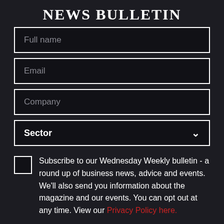NEWS BULLETIN
Full name
Email
Company
Sector
Subscribe to our Wednesday Weekly bulletin - a round up of business news, advice and events. We'll also send you information about the magazine and our events. You can opt out at any time. View our Privacy Policy here.